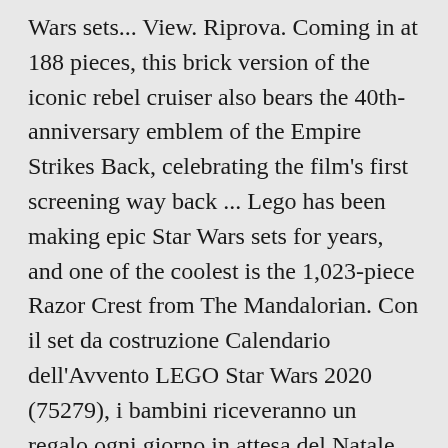Wars sets... View. Riprova. Coming in at 188 pieces, this brick version of the iconic rebel cruiser also bears the 40th-anniversary emblem of the Empire Strikes Back, celebrating the film's first screening way back ... Lego has been making epic Star Wars sets for years, and one of the coolest is the 1,023-piece Razor Crest from The Mandalorian. Con il set da costruzione Calendario dell'Avvento LEGO Star Wars 2020 (75279), i bambini riceveranno un regalo ogni giorno in attesa del Natale. Buy LEGO Star Wars Sith Troopers Battle Pack 75266 Stormtrooper Speeder Vehicle Building Kit, New 2020 (105 Pieces): Building Sets - Amazon.com FREE DELIVERY possible on eligible ... Daher wird es natürlich auch neue